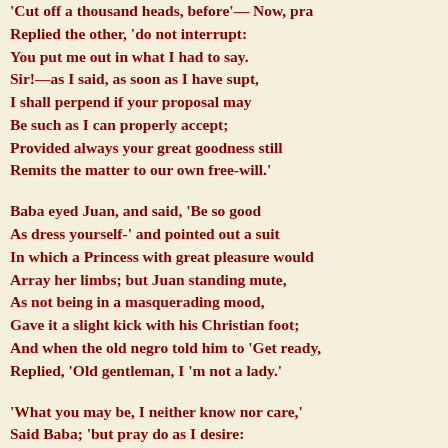'Cut off a thousand heads, before'— Now, pra
Replied the other, 'do not interrupt:
You put me out in what I had to say.
Sir!—as I said, as soon as I have supt,
I shall perpend if your proposal may
Be such as I can properly accept;
Provided always your great goodness still
Remits the matter to our own free-will.'

Baba eyed Juan, and said, 'Be so good
As dress yourself-' and pointed out a suit
In which a Princess with great pleasure would
Array her limbs; but Juan standing mute,
As not being in a masquerading mood,
Gave it a slight kick with his Christian foot;
And when the old negro told him to 'Get ready,
Replied, 'Old gentleman, I 'm not a lady.'

'What you may be, I neither know nor care,'
Said Baba; 'but pray do as I desire:
I have no more time nor many words to spare.'
'At least,' said Juan, 'sure I may enquire
The cause of this odd travesty?'—'Forbear,'
Said Baba, 'to be curious; 't will transpire,
No doubt, in proper place, and time, and season